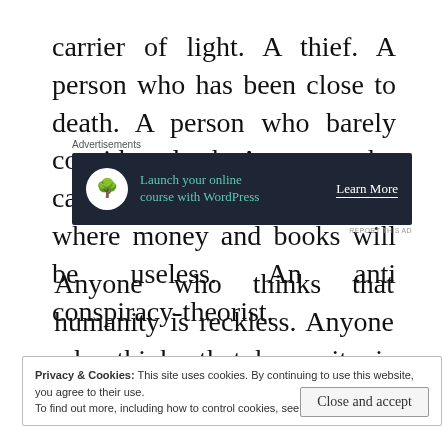carrier of light. A thief. A person who has been close to death. A person who barely considers death. A person who cannot conceive of a time where money and books will be useless. An anti conspiracy-theorist.
[Figure (other): Advertisement banner: dark navy background with tree/bonsai logo icon, teal text 'Launch your online course with WordPress', white 'Learn More' button link. Labeled 'Advertisements' above and 'REPORT THIS AD' below.]
Anyone who thinks that humanity is reckless. Anyone who thinks that humanity is visionary.
Privacy & Cookies: This site uses cookies. By continuing to use this website, you agree to their use.
To find out more, including how to control cookies, see here: Cookie Policy
[Close and accept button]